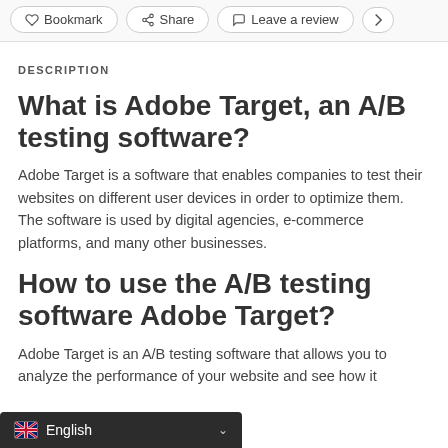Bookmark  Share  Leave a review
DESCRIPTION
What is Adobe Target, an A/B testing software?
Adobe Target is a software that enables companies to test their websites on different user devices in order to optimize them. The software is used by digital agencies, e-commerce platforms, and many other businesses.
How to use the A/B testing software Adobe Target?
Adobe Target is an A/B testing software that allows you to analyze the performance of your website and see how it